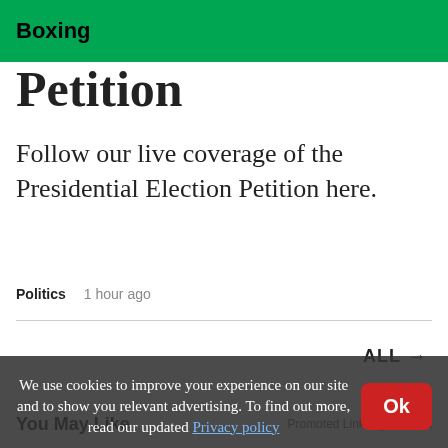Boxing
Petition
Follow our live coverage of the Presidential Election Petition here.
Politics   1 hour ago
ALL →
You May Like
Promoted Links by Taboola
We use cookies to improve your experience on our site and to show you relevant advertising. To find out more, read our updated Privacy policy